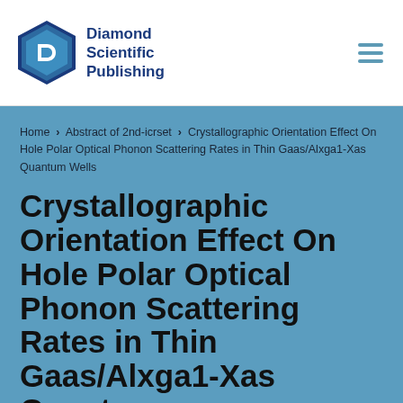Diamond Scientific Publishing
Home > Abstract of 2nd-icrset > Crystallographic Orientation Effect On Hole Polar Optical Phonon Scattering Rates in Thin Gaas/Alxga1-Xas Quantum Wells
Crystallographic Orientation Effect On Hole Polar Optical Phonon Scattering Rates in Thin Gaas/Alxga1-Xas Quantum